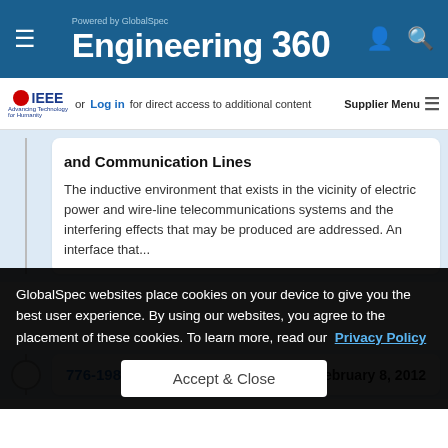Powered by GlobalSpec — Engineering 360
or Log in for direct access to additional content  Supplier Menu
and Communication Lines
The inductive environment that exists in the vicinity of electric power and wire-line telecommunications systems and the interfering effects that may be produced are addressed. An interface that...
776-1987   February 8, 2012
GlobalSpec websites place cookies on your device to give you the best user experience. By using our websites, you agree to the placement of these cookies. To learn more, read our Privacy Policy
Accept & Close